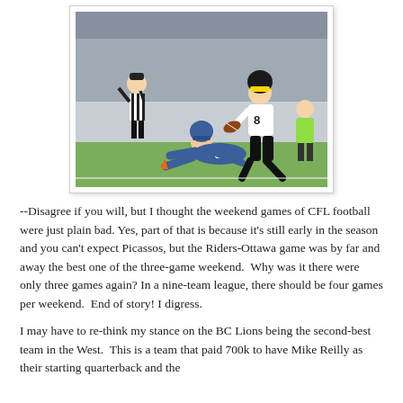[Figure (photo): A CFL football game action photo showing a receiver wearing jersey #8 in white and black (Hamilton Tiger-Cats colors) breaking a tackle by a blue-uniformed defender, with a referee in black and white stripes in the background and a man in a green shirt watching from the sideline.]
--Disagree if you will, but I thought the weekend games of CFL football were just plain bad. Yes, part of that is because it's still early in the season and you can't expect Picassos, but the Riders-Ottawa game was by far and away the best one of the three-game weekend.  Why was it there were only three games again? In a nine-team league, there should be four games per weekend.  End of story! I digress.
I may have to re-think my stance on the BC Lions being the second-best team in the West.  This is a team that paid 700k to have Mike Reilly as their starting quarterback and the